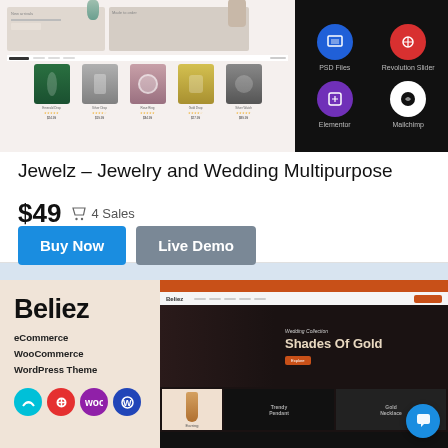[Figure (screenshot): Product listing card for Jewelz WordPress theme showing jewelry store screenshot on left and feature icons (PSD Files, Revolution Slider, Elementor, Mailchimp) on dark background on right]
Jewelz – Jewelry and Wedding Multipurpose
$49  4 Sales
Buy Now   Live Demo
[Figure (screenshot): Product listing card for Beliez eCommerce WooCommerce WordPress Theme showing brand name, badge icons, and dark theme demo with 'Shades Of Gold' hero text]